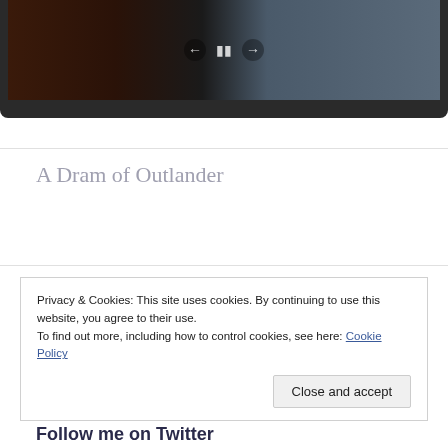[Figure (screenshot): Video player screenshot showing a scene from Outlander with playback controls visible]
A Dram of Outlander
Privacy & Cookies: This site uses cookies. By continuing to use this website, you agree to their use.
To find out more, including how to control cookies, see here: Cookie Policy
Close and accept
Follow me on Twitter